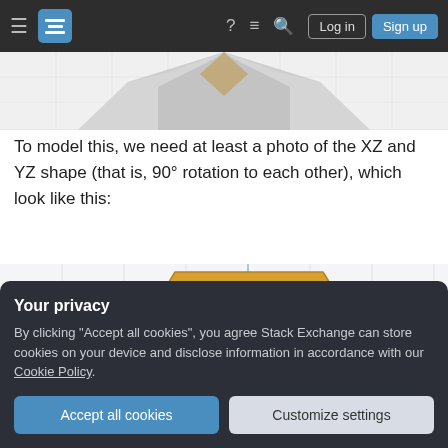Stack Exchange navigation bar with Log in and Sign up buttons
[Figure (illustration): Top portion of a 3D hexagonal/dodecahedral shape rendered on a grid, showing a gray geometric solid truncated at the bottom of frame]
To model this, we need at least a photo of the XZ and YZ shape (that is, 90° rotation to each other), which look like this:
[Figure (illustration): A flat orange/gold hexagonal shape on a light gray grid background — the XZ or YZ cross-section of the 3D shape, partially covered by a privacy banner]
Your privacy
By clicking "Accept all cookies", you agree Stack Exchange can store cookies on your device and disclose information in accordance with our Cookie Policy.
Accept all cookies   Customize settings